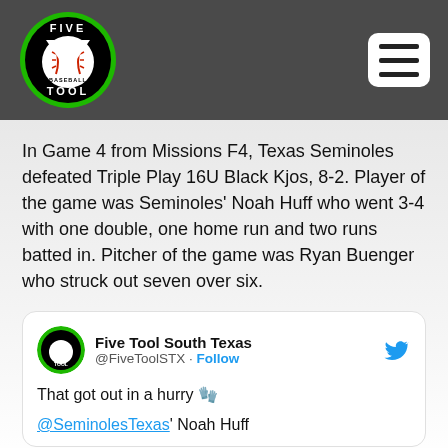[Figure (logo): Five Tool Baseball circular logo with green border, black background, white V shape over baseball, text FIVE TOOL BASEBALL around it]
In Game 4 from Missions F4, Texas Seminoles defeated Triple Play 16U Black Kjos, 8-2. Player of the game was Seminoles’ Noah Huff who went 3-4 with one double, one home run and two runs batted in. Pitcher of the game was Ryan Buenger who struck out seven over six.
[Figure (screenshot): Embedded tweet from Five Tool South Texas (@FiveToolSTX) with Follow link. Tweet text: That got out in a hurry [gloves emoji]. @SeminolesTexas' Noah Huff]